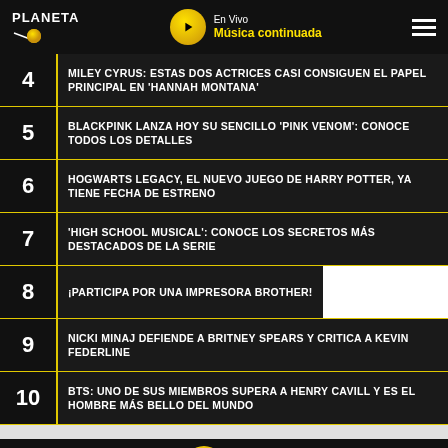PLANETA | En Vivo Música continuada
4 MILEY CYRUS: ESTAS DOS ACTRICES CASI CONSIGUEN EL PAPEL PRINCIPAL EN 'HANNAH MONTANA'
5 BLACKPINK LANZA HOY SU SENCILLO 'PINK VENOM': CONOCE TODOS LOS DETALLES
6 HOGWARTS LEGACY, EL NUEVO JUEGO DE HARRY POTTER, YA TIENE FECHA DE ESTRENO
7 'HIGH SCHOOL MUSICAL': CONOCE LOS SECRETOS MÁS DESTACADOS DE LA SERIE
8 ¡PARTICIPA POR UNA IMPRESORA BROTHER!
9 NICKI MINAJ DEFIENDE A BRITNEY SPEARS Y CRITICA A KEVIN FEDERLINE
10 BTS: UNO DE SUS MIEMBROS SUPERA A HENRY CAVILL Y ES EL HOMBRE MÁS BELLO DEL MUNDO
Escúchanos en vivo